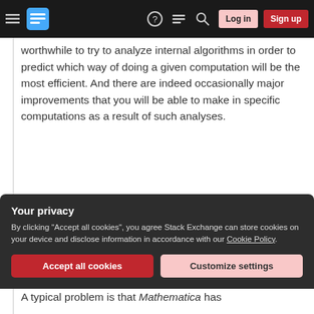Stack Exchange navigation bar with Log in and Sign up buttons
worthwhile to try to analyze internal algorithms in order to predict which way of doing a given computation will be the most efficient. And there are indeed occasionally major improvements that you will be able to make in specific computations as a result of such analyses.
But most often the analyses will not be worthwhile. For the internals of Mathematica are quite complicated, and even given a basic description of the
Your privacy
By clicking "Accept all cookies", you agree Stack Exchange can store cookies on your device and disclose information in accordance with our Cookie Policy.
A typical problem is that Mathematica has